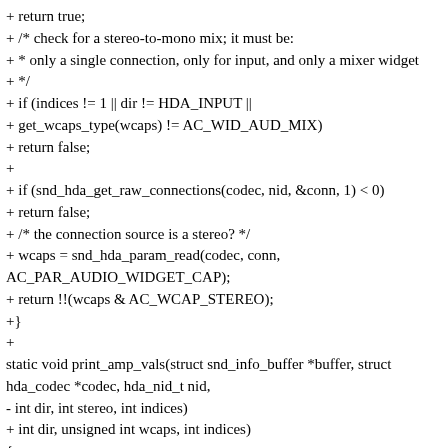+ return true;
+ /* check for a stereo-to-mono mix; it must be:
+ * only a single connection, only for input, and only a mixer widget
+ */
+ if (indices != 1 || dir != HDA_INPUT ||
+ get_wcaps_type(wcaps) != AC_WID_AUD_MIX)
+ return false;
+
+ if (snd_hda_get_raw_connections(codec, nid, &conn, 1) < 0)
+ return false;
+ /* the connection source is a stereo? */
+ wcaps = snd_hda_param_read(codec, conn, AC_PAR_AUDIO_WIDGET_CAP);
+ return !!(wcaps & AC_WCAP_STEREO);
+}
+
static void print_amp_vals(struct snd_info_buffer *buffer, struct hda_codec *codec, hda_nid_t nid,
- int dir, int stereo, int indices)
+ int dir, unsigned int wcaps, int indices)
{
unsigned int val;
+ bool stereo;
int i;